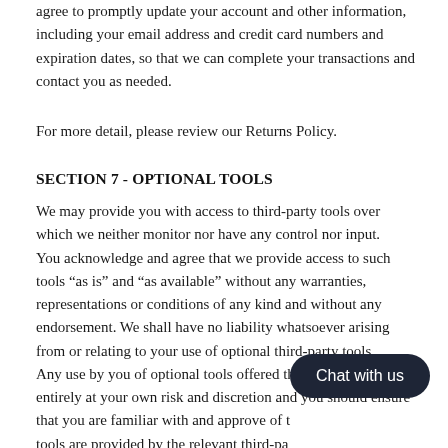agree to promptly update your account and other information, including your email address and credit card numbers and expiration dates, so that we can complete your transactions and contact you as needed.
For more detail, please review our Returns Policy.
SECTION 7 - OPTIONAL TOOLS
We may provide you with access to third-party tools over which we neither monitor nor have any control nor input.
You acknowledge and agree that we provide access to such tools “as is” and “as available” without any warranties, representations or conditions of any kind and without any endorsement. We shall have no liability whatsoever arising from or relating to your use of optional third-party tools.
Any use by you of optional tools offered through the site is entirely at your own risk and discretion and you should ensure that you are familiar with and approve of the terms on which tools are provided by the relevant third-party provider(s).
We may also, in the future, offer new services and/or features through the website (including, the release of new tools and